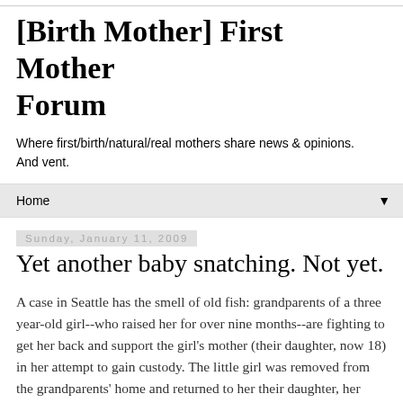[Birth Mother] First Mother Forum
Where first/birth/natural/real mothers share news & opinions. And vent.
Home
Sunday, January 11, 2009
Yet another baby snatching. Not yet.
A case in Seattle has the smell of old fish: grandparents of a three year-old girl--who raised her for over nine months--are fighting to get her back and support the girl's mother (their daughter, now 18) in her attempt to gain custody. The little girl was removed from the grandparents' home and returned to her their daughter, her mother, whom they had been supporting, when she was nine-months old, but things